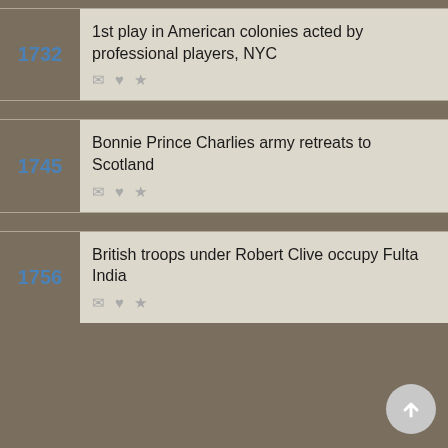1732 - 1st play in American colonies acted by professional players, NYC
1745 - Bonnie Prince Charlies army retreats to Scotland
1756 - British troops under Robert Clive occupy Fulta India
We use cookies to understand how you use our site and to improve your experience. This includes personalizing content for you and for the display and tracking of advertising. By continuing to use our site, you accept and agree to our use of cookies. Privacy Policy
Got it!